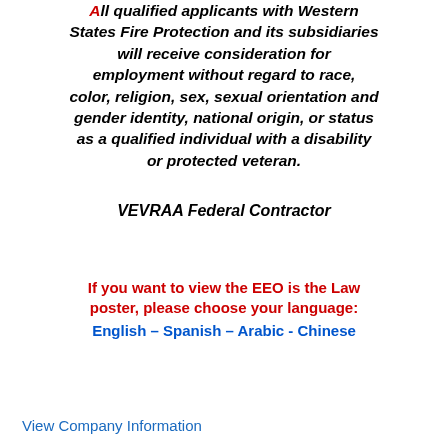All qualified applicants with Western States Fire Protection and its subsidiaries will receive consideration for employment without regard to race, color, religion, sex, sexual orientation and gender identity, national origin, or status as a qualified individual with a disability or protected veteran.
VEVRAA Federal Contractor
If you want to view the EEO is the Law poster, please choose your language: English – Spanish – Arabic - Chinese
View Company Information